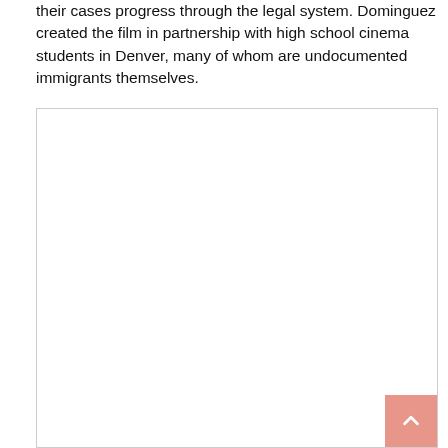their cases progress through the legal system. Dominguez created the film in partnership with high school cinema students in Denver, many of whom are undocumented immigrants themselves.
[Figure (photo): A large white/blank rectangular image placeholder with a light gray border, occupying most of the lower portion of the page. A salmon/pink scroll-to-top button with an upward arrow is visible in the bottom-right corner.]